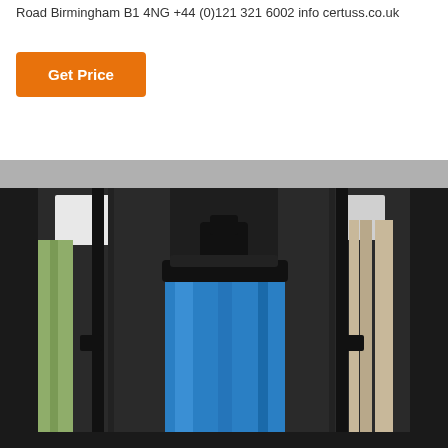Road Birmingham B1 4NG +44 (0)121 321 6002 info certuss.co.uk
Get Price
[Figure (photo): Close-up photo of an industrial water filtration unit showing a large blue cylindrical filter housing mounted in a dark metal frame/rack, with piping and other components visible on the sides.]